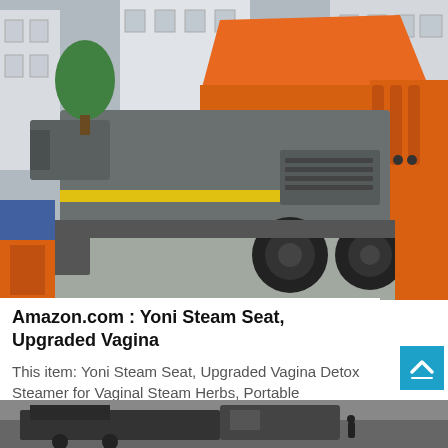[Figure (photo): Orange and grey mobile jaw crusher machine on wheels in an industrial yard with buildings in the background]
Amazon.com : Yoni Steam Seat, Upgraded Vagina
This item: Yoni Steam Seat, Upgraded Vagina Detox Steamer for Vaginal Steam Herbs, Portable Fumigation Instrument,Gynecological...
[Figure (photo): Black and white photo of heavy machinery or vehicle with workers standing nearby in an industrial area]